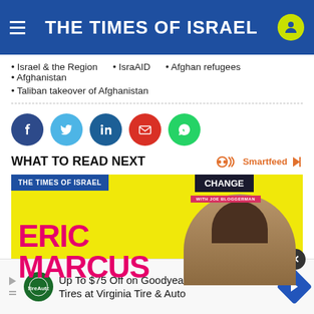THE TIMES OF ISRAEL
Israel & the Region
IsraAID
Afghan refugees
Afghanistan
Taliban takeover of Afghanistan
WHAT TO READ NEXT
[Figure (screenshot): The Times of Israel branded image with CHANGE label and ERIC MARCUS text on yellow background with person's face]
[Figure (other): Advertisement banner: Up To $75 Off on Goodyear Tires at Virginia Tire & Auto]